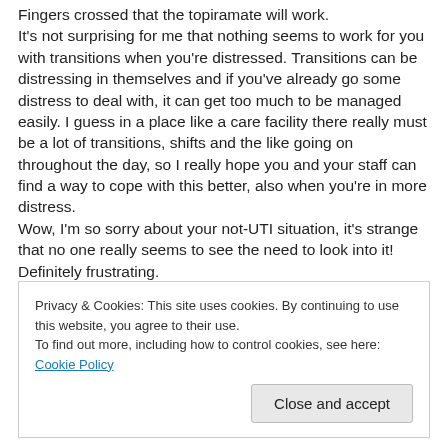Fingers crossed that the topiramate will work.
It's not surprising for me that nothing seems to work for you with transitions when you're distressed. Transitions can be distressing in themselves and if you've already go some distress to deal with, it can get too much to be managed easily. I guess in a place like a care facility there really must be a lot of transitions, shifts and the like going on throughout the day, so I really hope you and your staff can find a way to cope with this better, also when you're in more distress.
Wow, I'm so sorry about your not-UTI situation, it's strange that no one really seems to see the need to look into it! Definitely frustrating.
Privacy & Cookies: This site uses cookies. By continuing to use this website, you agree to their use.
To find out more, including how to control cookies, see here: Cookie Policy
Close and accept